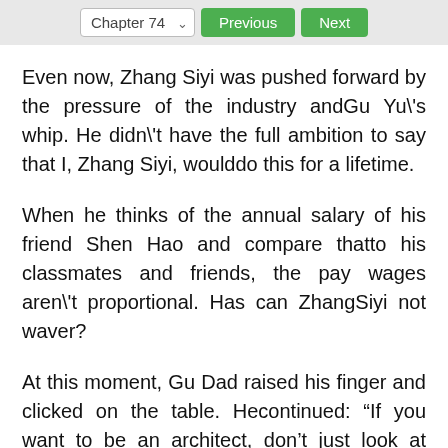Chapter 74  Previous  Next
Even now, Zhang Siyi was pushed forward by the pressure of the industry andGu Yu\'s whip. He didn\'t have the full ambition to say that I, Zhang Siyi, woulddo this for a lifetime.
When he thinks of the annual salary of his friend Shen Hao and compare thatto his classmates and friends, the pay wages aren\'t proportional. Has can ZhangSiyi not waver?
At this moment, Gu Dad raised his finger and clicked on the table. Hecontinued: “If you want to be an architect, don’t just look at theimmediate interests. Your value does not depend on how much money someone elsegave you today. It is the wealth that